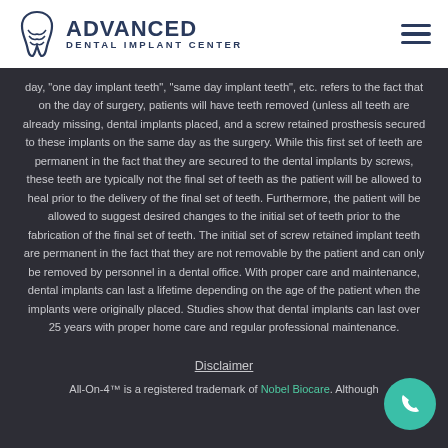[Figure (logo): Advanced Dental Implant Center logo with tooth icon and hamburger menu icon]
day, 'one day implant teeth', 'same day implant teeth', etc. refers to the fact that on the day of surgery, patients will have teeth removed (unless all teeth are already missing, dental implants placed, and a screw retained prosthesis secured to these implants on the same day as the surgery. While this first set of teeth are permanent in the fact that they are secured to the dental implants by screws, these teeth are typically not the final set of teeth as the patient will be allowed to heal prior to the delivery of the final set of teeth. Furthermore, the patient will be allowed to suggest desired changes to the initial set of teeth prior to the fabrication of the final set of teeth. The initial set of screw retained implant teeth are permanent in the fact that they are not removable by the patient and can only be removed by personnel in a dental office. With proper care and maintenance, dental implants can last a lifetime depending on the age of the patient when the implants were originally placed. Studies show that dental implants can last over 25 years with proper home care and regular professional maintenance.
Disclaimer
All-On-4™ is a registered trademark of Nobel Biocare. Although